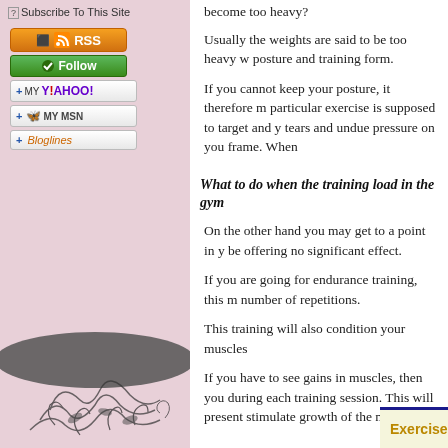Subscribe To This Site
[Figure (screenshot): RSS subscription button (orange)]
[Figure (screenshot): Follow button (green)]
[Figure (screenshot): Add to My Yahoo! button]
[Figure (screenshot): Add to My MSN button]
[Figure (screenshot): Add to Bloglines button]
[Figure (illustration): Decorative floral scrollwork illustration in dark color on pink background]
become too heavy?
Usually the weights are said to be too heavy w posture and training form.
If you cannot keep your posture, it therefore m particular exercise is supposed to target and y tears and undue pressure on you frame. When
What to do when the training load in the gym
On the other hand you may get to a point in y be offering no significant effect.
If you are going for endurance training, this m number of repetitions.
This training will also condition your muscles
If you have to see gains in muscles, then you during each training session. This will present stimulate growth of the muscles.
ExerciseGoals.com Rec